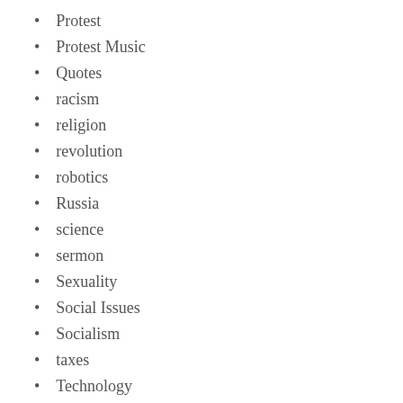Protest
Protest Music
Quotes
racism
religion
revolution
robotics
Russia
science
sermon
Sexuality
Social Issues
Socialism
taxes
Technology
TECHstinkTION